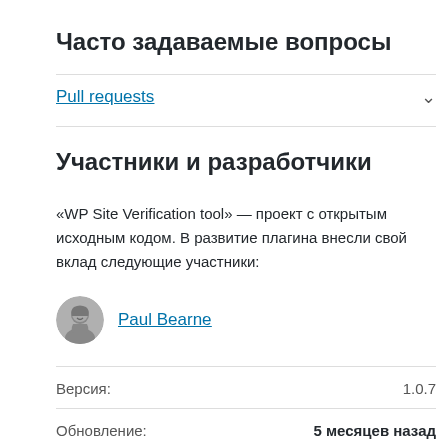Часто задаваемые вопросы
Pull requests
Участники и разработчики
«WP Site Verification tool» — проект с открытым исходным кодом. В развитие плагина внесли свой вклад следующие участники:
Paul Bearne
Версия: 1.0.7
Обновление: 5 месяцев назад